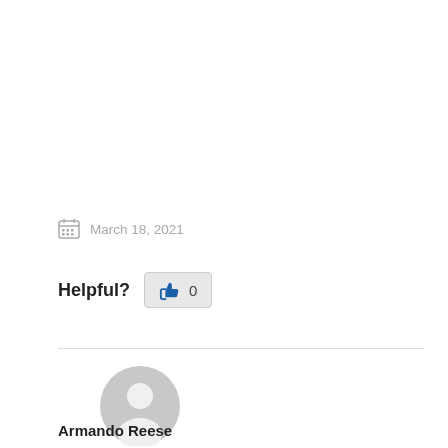March 18, 2021
Helpful? 0
[Figure (illustration): Default grey user avatar circle icon]
Armando Reese